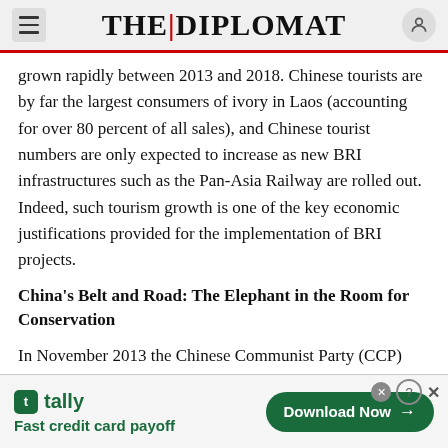THE DIPLOMAT
grown rapidly between 2013 and 2018. Chinese tourists are by far the largest consumers of ivory in Laos (accounting for over 80 percent of all sales), and Chinese tourist numbers are only expected to increase as new BRI infrastructures such as the Pan-Asia Railway are rolled out. Indeed, such tourism growth is one of the key economic justifications provided for the implementation of BRI projects.
China's Belt and Road: The Elephant in the Room for Conservation
In November 2013 the Chinese Communist Party (CCP) announced two ambitious multibillion dollar
[Figure (screenshot): Tally app advertisement banner: 'Fast credit card payoff' with Download Now button]